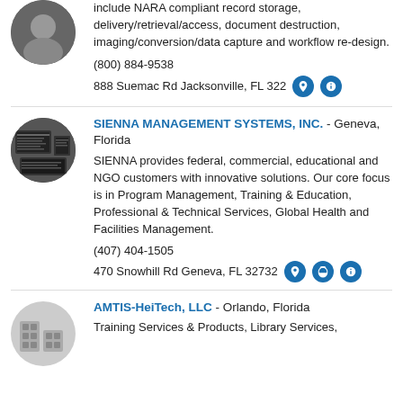include NARA compliant record storage, delivery/retrieval/access, document destruction, imaging/conversion/data capture and workflow re-design.
(800) 884-9538
888 Suemac Rd Jacksonville, FL 322...
SIENNA MANAGEMENT SYSTEMS, INC. - Geneva, Florida
SIENNA provides federal, commercial, educational and NGO customers with innovative solutions. Our core focus is in Program Management, Training & Education, Professional & Technical Services, Global Health and Facilities Management.
(407) 404-1505
470 Snowhill Rd Geneva, FL 32732
AMTIS-HeiTech, LLC - Orlando, Florida
Training Services & Products, Library Services,